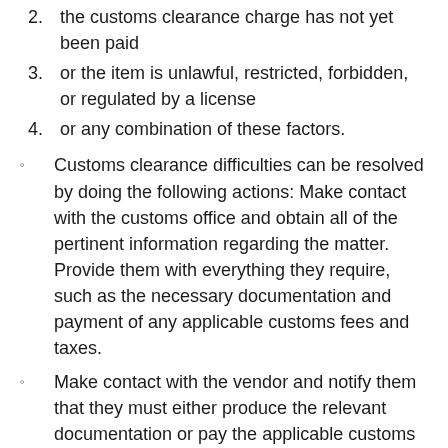2. the customs clearance charge has not yet been paid
3. or the item is unlawful, restricted, forbidden, or regulated by a license
4. or any combination of these factors.
Customs clearance difficulties can be resolved by doing the following actions: Make contact with the customs office and obtain all of the pertinent information regarding the matter. Provide them with everything they require, such as the necessary documentation and payment of any applicable customs fees and taxes.
Make contact with the vendor and notify them that they must either produce the relevant documentation or pay the applicable customs